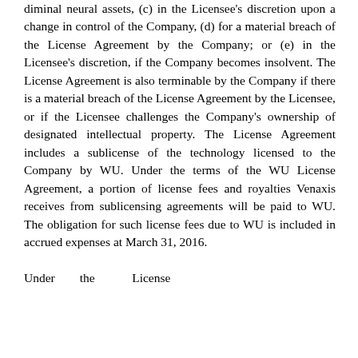diminal neural assets, (c) in the Licensee's discretion upon a change in control of the Company, (d) for a material breach of the License Agreement by the Company; or (e) in the Licensee's discretion, if the Company becomes insolvent. The License Agreement is also terminable by the Company if there is a material breach of the License Agreement by the Licensee, or if the Licensee challenges the Company's ownership of designated intellectual property. The License Agreement includes a sublicense of the technology licensed to the Company by WU. Under the terms of the WU License Agreement, a portion of license fees and royalties Venaxis receives from sublicensing agreements will be paid to WU. The obligation for such license fees due to WU is included in accrued expenses at March 31, 2016.

Under the License